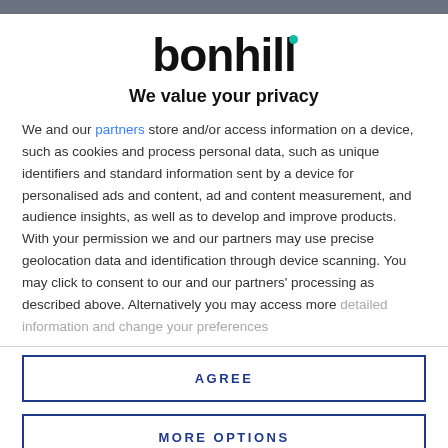[Figure (logo): Bonhill logo — bold black lowercase text 'bonhill' with a small teal dot above the 'i']
We value your privacy
We and our partners store and/or access information on a device, such as cookies and process personal data, such as unique identifiers and standard information sent by a device for personalised ads and content, ad and content measurement, and audience insights, as well as to develop and improve products. With your permission we and our partners may use precise geolocation data and identification through device scanning. You may click to consent to our and our partners' processing as described above. Alternatively you may access more detailed information and change your preferences...
AGREE
MORE OPTIONS
Saudi Arabia has taken a big step towards being...